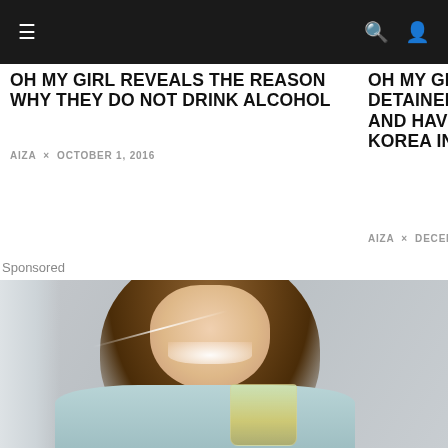☰  🔍 👤
OH MY GIRL REVEALS THE REASON WHY THEY DO NOT DRINK ALCOHOL
AIZA × OCTOBER 1, 2016
OH MY GIRL REV DETAINED AT LO AND HAVE RETU KOREA INSTEAD
AIZA × DECEMBER 1
Sponsored
[Figure (photo): Smiling young woman with long brown hair holding a glass of lemon water or green tea, wearing a light blue sweater, photographed against a light grey background with window light]